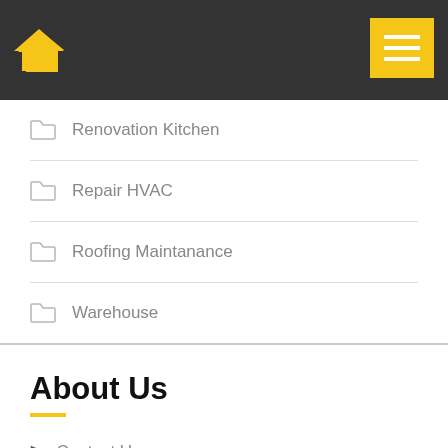[Figure (logo): Yellow house icon on dark grey navigation header bar with yellow hamburger menu button on the right]
Renovation Kitchen
Repair HVAC
Roofing Maintanance
Warehouse
About Us
Contact Us